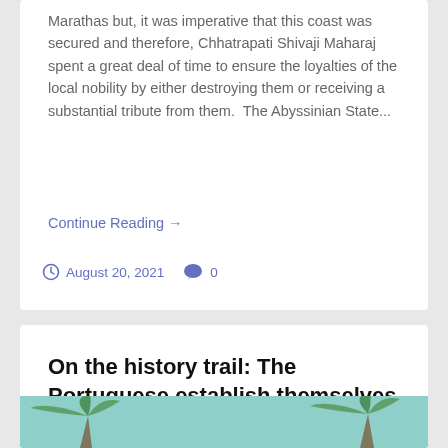Marathas but, it was imperative that this coast was secured and therefore, Chhatrapati Shivaji Maharaj spent a great deal of time to ensure the loyalties of the local nobility by either destroying them or receiving a substantial tribute from them.  The Abyssinian State...
Continue Reading →
August 20, 2021  0
On the history trail: The Portuguese establish themselves in the Malabar Coast
[Figure (photo): Partial view of a coastal/tropical scene with palm tree leaves visible at the bottom of the card, teal/blue-green background]